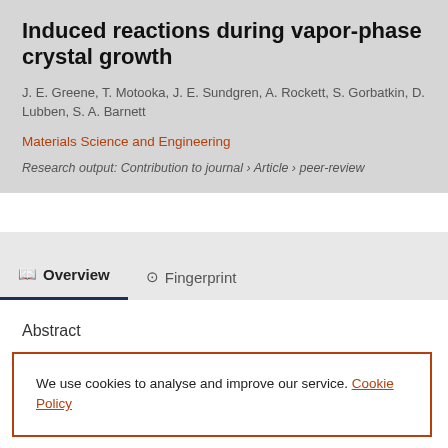Induced reactions during vapor-phase crystal growth
J. E. Greene, T. Motooka, J. E. Sundgren, A. Rockett, S. Gorbatkin, D. Lubben, S. A. Barnett
Materials Science and Engineering
Research output: Contribution to journal › Article › peer-review
Overview
Fingerprint
Abstract
We use cookies to analyse and improve our service. Cookie Policy